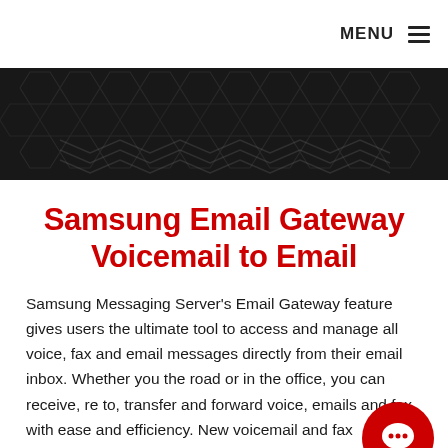MENU ☰
[Figure (illustration): Dark hexagonal pattern banner background with subtle chevron/wave textures in dark grey and black.]
Samsung Email Gateway Voicemail to Email
Samsung Messaging Server's Email Gateway feature gives users the ultimate tool to access and manage all voice, fax and email messages directly from their email inbox. Whether you the road or in the office, you can receive, re to, transfer and forward voice, emails and fax with ease and efficiency. New voicemail and fax
[Figure (illustration): Red circular chat/speech bubble button icon in bottom right corner.]